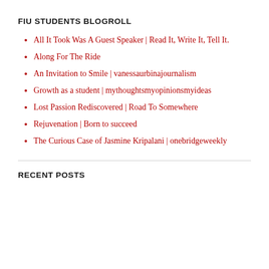FIU STUDENTS BLOGROLL
All It Took Was A Guest Speaker | Read It, Write It, Tell It.
Along For The Ride
An Invitation to Smile | vanessaurbinajournalism
Growth as a student | mythoughtsmyopinionsmyideas
Lost Passion Rediscovered | Road To Somewhere
Rejuvenation | Born to succeed
The Curious Case of Jasmine Kripalani | onebridgeweekly
RECENT POSTS